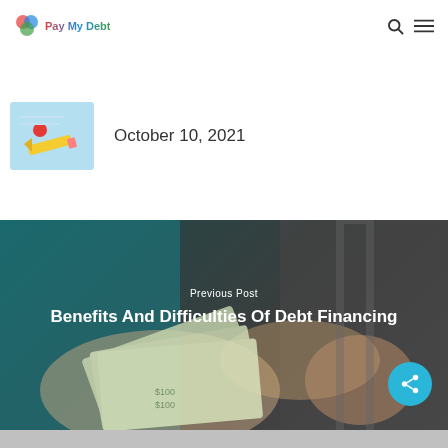Pay My Debt
[Figure (screenshot): Thumbnail image showing a pencil and red dot on a blue background]
October 10, 2021
[Figure (photo): Hands exchanging US dollar bills, with suited figure in background — finance/debt financing concept image with overlay text]
Previous Post
Benefits And Difficulties Of Debt Financing